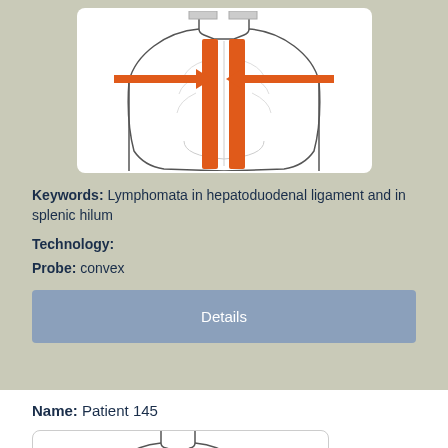[Figure (illustration): Anatomical diagram of human torso (front view) with orange arrows pointing inward from sides and orange vertical bars indicating lymphoma locations in hepatoduodenal ligament and splenic hilum]
Keywords: Lymphomata in hepatoduodenal ligament and in splenic hilum
Technology:
Probe: convex
Details
Name: Patient 145
[Figure (illustration): Anatomical diagram of human upper torso/chest (front view), outline only, beginning to show]